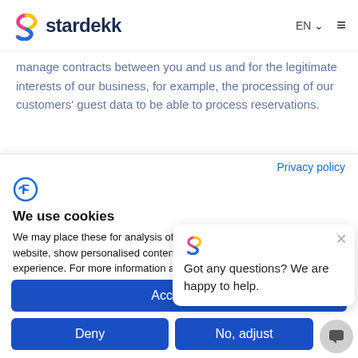stardekk — EN (language selector) — hamburger menu
manage contracts between you and us and for the legitimate interests of our business, for example, the processing of our customers' guest data to be able to process reservations.
Privacy policy
[Figure (logo): Featurebase cookie consent icon (circular F logo)]
We use cookies
We may place these for analysis of our visitor data, to improve our website, show personalised content and to give you a great website experience. For more information about the cookies we use open the settings.
[Figure (screenshot): Chat popup with stardekk logo and text: Got any questions? We are happy to help. With a close X button.]
Accept all
Deny
No, adjust